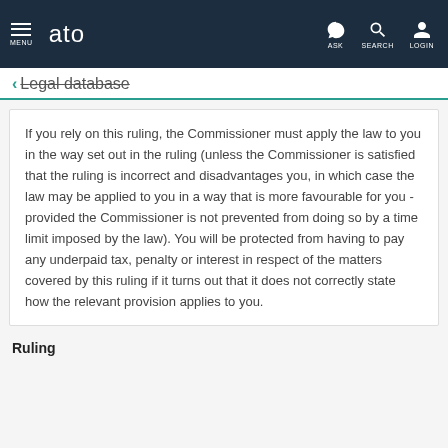MENU | ato | ASK | SEARCH | LOGIN
← Legal database
If you rely on this ruling, the Commissioner must apply the law to you in the way set out in the ruling (unless the Commissioner is satisfied that the ruling is incorrect and disadvantages you, in which case the law may be applied to you in a way that is more favourable for you - provided the Commissioner is not prevented from doing so by a time limit imposed by the law). You will be protected from having to pay any underpaid tax, penalty or interest in respect of the matters covered by this ruling if it turns out that it does not correctly state how the relevant provision applies to you.
Ruling